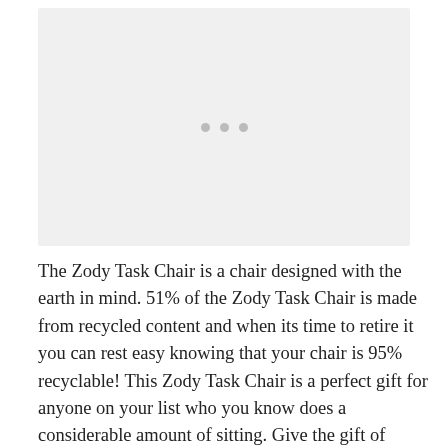[Figure (photo): Image placeholder with loading dots indicator on a light gray background]
The Zody Task Chair is a chair designed with the earth in mind. 51% of the Zody Task Chair is made from recycled content and when its time to retire it you can rest easy knowing that your chair is 95% recyclable! This Zody Task Chair is a perfect gift for anyone on your list who you know does a considerable amount of sitting. Give the gift of